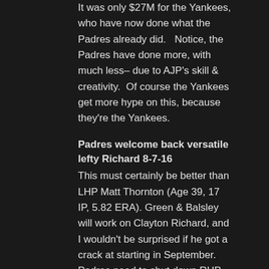It was only $27M for the Yankees, who have now done what the Padres already did.  Notice, the Padres have done more, with much less– due to AJP's skill & creativity.  Of course the Yankees get more hype on this, because they're the Yankees.
Padres welcome back versatile lefty Richard 8-7-16
This must certainly be better than LHP Matt Thornton (Age 39, 17 IP, 5.82 ERA). Green & Balsley will work on Clayton Richard, and I wouldn't be surprised if he got a crack at starting in September. Padres need to shut down RHP Luis Perdomo & LHP Christian Friedrich soon, so they'll need all the arms they can get. Preller is doing his job, acquiring whatever pitching he can get, after trading his staff away for prospects or losing them to injury.  The Edwin Jackson pick-up (waived by the Marlins) has really helped: 3-1 in 5 starts, with a 3.62 ERA in 32.1 IP.
[Figure (photo): A baseball pitcher shown from below mid-motion, arm raised, against a dark teal/blue background.]